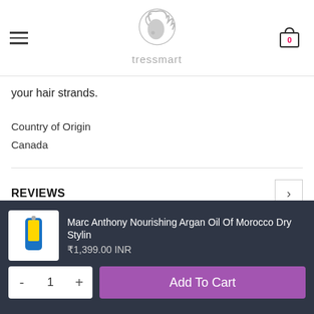tressmart header with logo and cart
your hair strands.
Country of Origin
Canada
REVIEWS
DELIVERY & SHIPPING
Marc Anthony Nourishing Argan Oil Of Morocco Dry Stylin
₹1,399.00 INR
Add To Cart